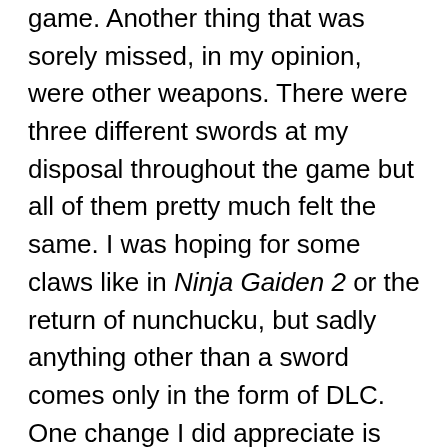game. Another thing that was sorely missed, in my opinion, were other weapons. There were three different swords at my disposal throughout the game but all of them pretty much felt the same. I was hoping for some claws like in Ninja Gaiden 2 or the return of nunchucku, but sadly anything other than a sword comes only in the form of DLC. One change I did appreciate is that the female characters actually wear practical clothes in this game. If you're familiar with the way women are typically dressed in Ninja Gaiden games then you know what I'm talking about. Finally, at least one designer at Team Ninja